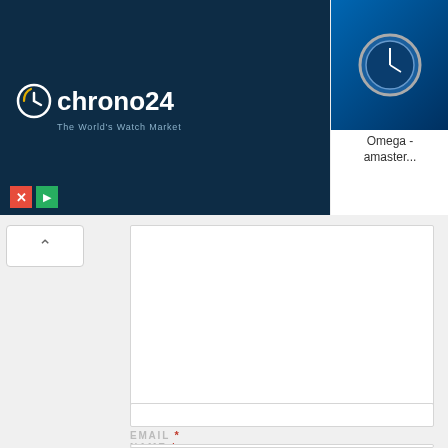[Figure (screenshot): Chrono24 advertisement banner showing logo on dark blue background on the left and four Omega Seamaster watch listings with thumbnail images on the right. Below the banner is a close (X) button and a play button. A collapse arrow button appears below the ad.]
[Figure (screenshot): Web form UI showing a comment textarea, NAME field with required asterisk, EMAIL field with required asterisk and a black SHARE button, and WEBSITE label at the bottom.]